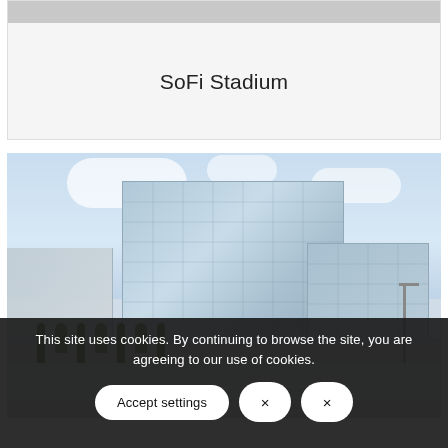SoFi Stadium
[Figure (photo): Exterior photo of a modern glass office building under a partly cloudy blue sky, with palm trees and street-level view in the foreground.]
This site uses cookies. By continuing to browse the site, you are agreeing to our use of cookies.
Accept settings × ×